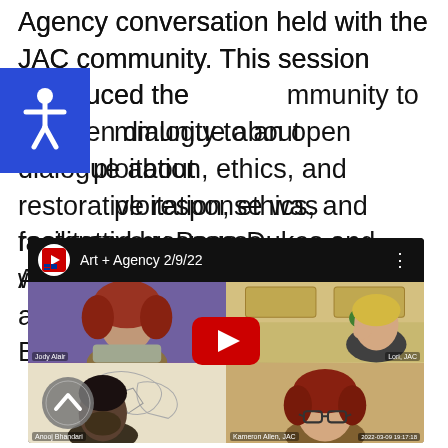Agency conversation held with the JAC community. This session introduced the community to an open dialogue about exploitation, ethics, and restorative response was facilitated by Page Dukes and Anooj Bhandari.
[Figure (screenshot): YouTube video embed showing 'Art + Agency 2/9/22' with a 2x2 grid of video participants including a woman with red curly hair, a woman with blonde hair, a man (Anooj Bhandari), and a woman with red hair and glasses. A YouTube play button is overlaid in the center.]